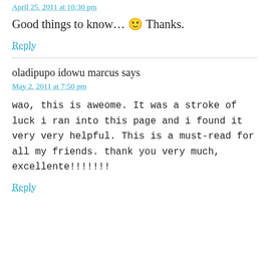April 25, 2011 at 10:30 pm
Good things to know… 🙂 Thanks.
Reply
oladipupo idowu marcus says
May 2, 2011 at 7:50 pm
wao, this is aweome. It was a stroke of luck i ran into this page and i found it very very helpful. This is a must-read for all my friends. thank you very much, excellente!!!!!!!
Reply